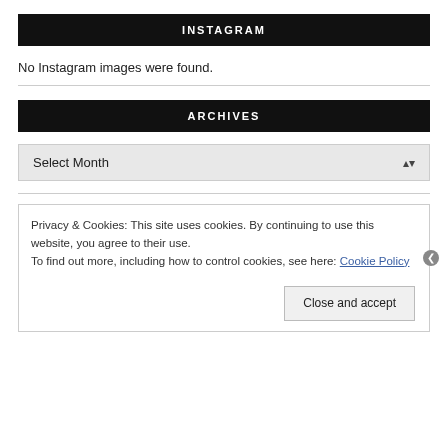INSTAGRAM
No Instagram images were found.
ARCHIVES
Select Month
Privacy & Cookies: This site uses cookies. By continuing to use this website, you agree to their use.
To find out more, including how to control cookies, see here: Cookie Policy
Close and accept